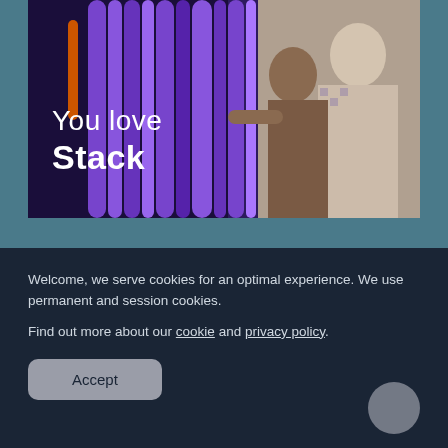[Figure (photo): Two technicians smiling while working with purple network cables in a data center. Text overlay reads 'You love Stack'.]
Welcome, we serve cookies for an optimal experience. We use permanent and session cookies.

Find out more about our cookie and privacy policy.
Accept